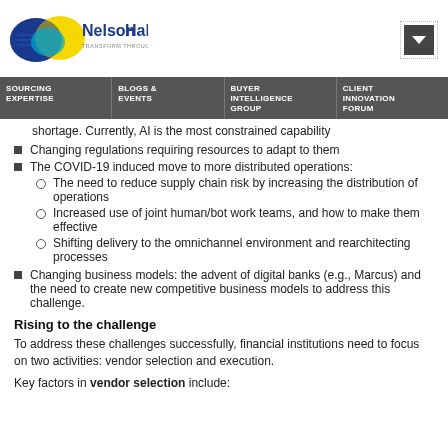[Figure (logo): NelsonHall logo with blue and yellow overlapping circles and tagline 'Transform Through Insight']
SOURCING EXPERTISE | BLOGS & EVENTS | BUYER INTELLIGENCE GROUP | CLIENT INNOVATION FORUM
shortage. Currently, AI is the most constrained capability
Changing regulations requiring resources to adapt to them
The COVID-19 induced move to more distributed operations:
The need to reduce supply chain risk by increasing the distribution of operations
Increased use of joint human/bot work teams, and how to make them effective
Shifting delivery to the omnichannel environment and rearchitecting processes
Changing business models: the advent of digital banks (e.g., Marcus) and the need to create new competitive business models to address this challenge.
Rising to the challenge
To address these challenges successfully, financial institutions need to focus on two activities: vendor selection and execution.
Key factors in vendor selection include: